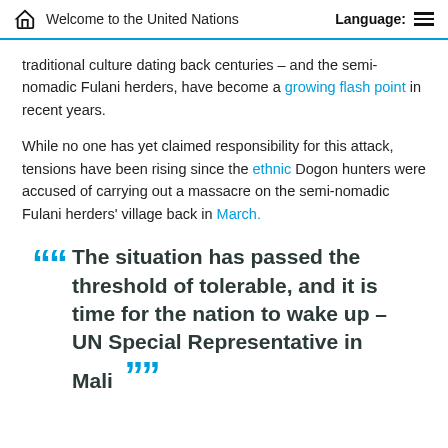Welcome to the United Nations   Language:
traditional culture dating back centuries – and the semi-nomadic Fulani herders, have become a growing flash point in recent years.
While no one has yet claimed responsibility for this attack, tensions have been rising since the ethnic Dogon hunters were accused of carrying out a massacre on the semi-nomadic Fulani herders' village back in March.
““ The situation has passed the threshold of tolerable, and it is time for the nation to wake up – UN Special Representative in Mali ””